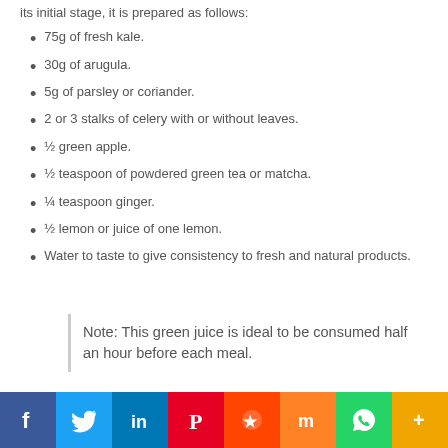its initial stage, it is prepared as follows:
75g of fresh kale.
30g of arugula.
5g of parsley or coriander.
2 or 3 stalks of celery with or without leaves.
½ green apple.
½ teaspoon of powdered green tea or matcha.
¼ teaspoon ginger.
½ lemon or juice of one lemon.
Water to taste to give consistency to fresh and natural products.
Note: This green juice is ideal to be consumed half an hour before each meal.
[Figure (infographic): Social media sharing bar with icons for Facebook, Twitter, LinkedIn, Pinterest, Reddit, Mix, WhatsApp, and More]